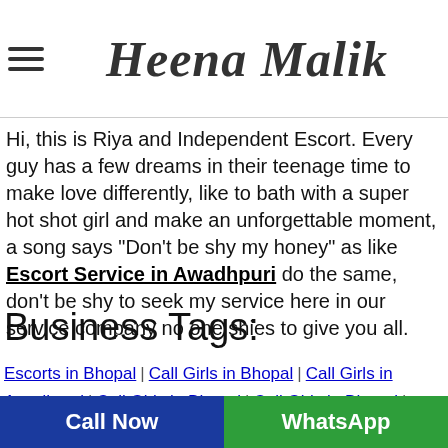Heena Malik
Hi, this is Riya and Independent Escort. Every guy has a few dreams in their teenage time to make love differently, like to bath with a super hot shot girl and make an unforgettable moment, a song says "Don't be shy my honey" as like Escort Service in Awadhpuri do the same, don't be shy to seek my service here in our service company no one shies to give you all.
Business Tags:
Escorts in Bhopal | Call Girls in Bhopal | Call Girls in Awadhpuri | Call Girls in Bhopal | Call Girls in Bhopal | Escorts in Bhopal | Call Girls in Bhopal | Call Girls in Bhopal | Call Girls in Bhopal | Escort Service in Bhopal | Call Girls...
Call Now | WhatsApp